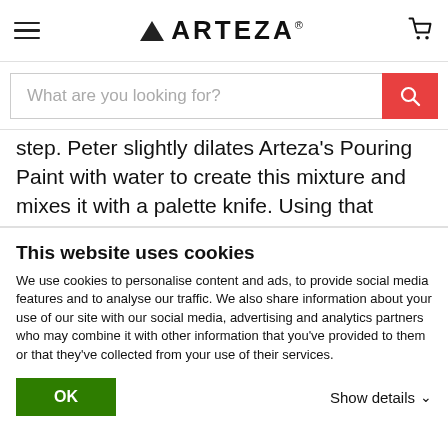ARTEZA (logo with hamburger menu and cart icon)
[Figure (screenshot): Search bar with text 'What are you looking for?' and a red search button]
step. Peter slightly dilates Arteza's Pouring Paint with water to create this mixture and mixes it with a palette knife. Using that palette knife, Peter then splashes the canvas's area until he is satisfied with the final result. Arteza's liquid pouring paint is pre-mixed and ready to use, so no dilution is needed; however, if you wish to create a more fluid paint application like Peter's, then Arteza's Pouring Paint is perfect for the job. Peter Terrin has
This website uses cookies
We use cookies to personalise content and ads, to provide social media features and to analyse our traffic. We also share information about your use of our site with our social media, advertising and analytics partners who may combine it with other information that you've provided to them or that they've collected from your use of their services.
OK
Show details